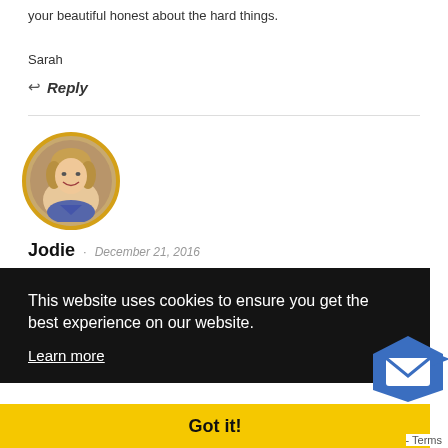your beautiful honest about the hard things.
Sarah
↩ Reply
[Figure (photo): Circular avatar photo of Jodie, a smiling woman with blonde hair, framed by a gold/yellow circular border.]
Jodie · December 21, 2016
This website uses cookies to ensure you get the best experience on our website. Learn more
Got it!
Terms